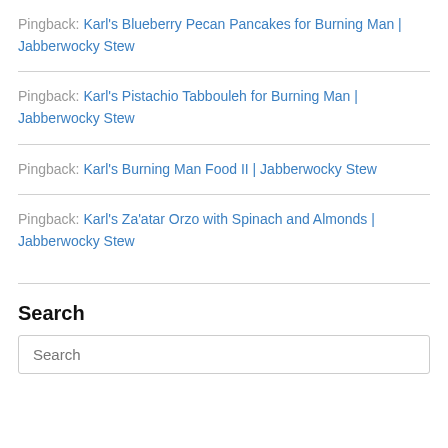Pingback: Karl's Blueberry Pecan Pancakes for Burning Man | Jabberwocky Stew
Pingback: Karl's Pistachio Tabbouleh for Burning Man | Jabberwocky Stew
Pingback: Karl's Burning Man Food II | Jabberwocky Stew
Pingback: Karl's Za'atar Orzo with Spinach and Almonds | Jabberwocky Stew
Search